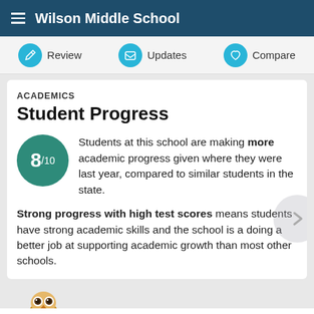Wilson Middle School
Review | Updates | Compare
ACADEMICS
Student Progress
Students at this school are making more academic progress given where they were last year, compared to similar students in the state.
Strong progress with high test scores means students have strong academic skills and the school is a doing a better job at supporting academic growth than most other schools.